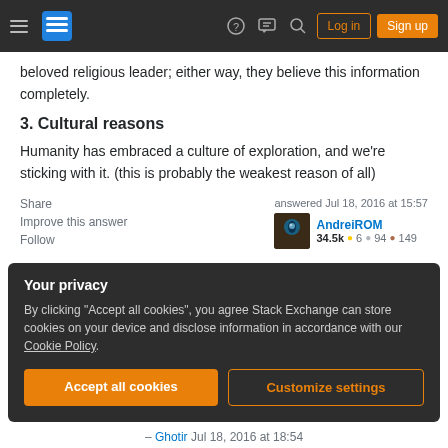Navigation bar with hamburger menu, logo, help icon, chat icon, search icon, Log in button, Sign up button
beloved religious leader; either way, they believe this information completely.
3. Cultural reasons
Humanity has embraced a culture of exploration, and we're sticking with it. (this is probably the weakest reason of all)
Share   Improve this answer   Follow — answered Jul 18, 2016 at 15:57 — AndreiROM — 34.5k 6 94 149
Your privacy
By clicking "Accept all cookies", you agree Stack Exchange can store cookies on your device and disclose information in accordance with our Cookie Policy.
[Accept all cookies] [Customize settings]
– Ghotir Jul 18, 2016 at 18:54